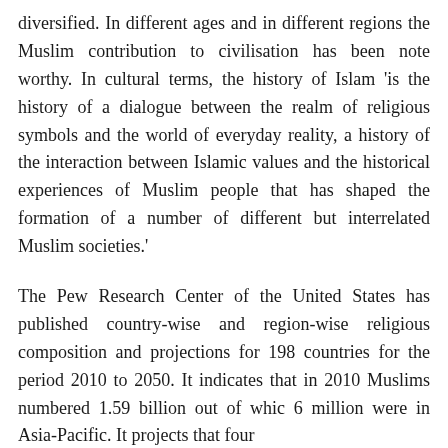diversified. In different ages and in different regions the Muslim contribution to civilisation has been noteworthy. In cultural terms, the history of Islam 'is the history of a dialogue between the realm of religious symbols and the world of everyday reality, a history of the interaction between Islamic values and the historical experiences of Muslim people that has shaped the formation of a number of different but interrelated Muslim societies.'
The Pew Research Center of the United States has published country-wise and region-wise religious composition and projections for 198 countries for the period 2010 to 2050. It indicates that in 2010 Muslims numbered 1.59 billion out of which 6 million were in Asia-Pacific. It projects that four